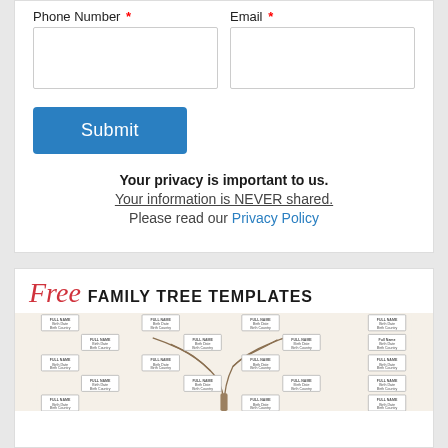Phone Number *
Email *
Submit
Your privacy is important to us.
Your information is NEVER shared.
Please read our Privacy Policy
[Figure (illustration): Free Family Tree Templates promotional banner with a decorative tree illustration and multiple name placeholder boxes]